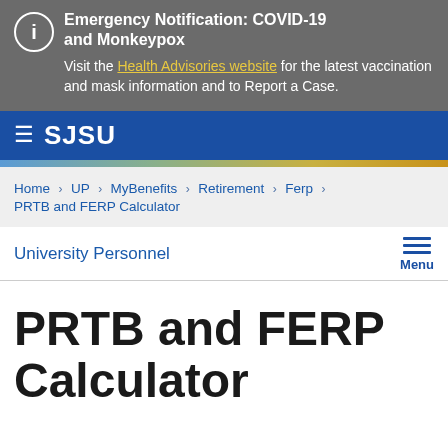[Figure (screenshot): Emergency notification banner with info icon, COVID-19 and Monkeypox alert, and Health Advisories website link]
Emergency Notification: COVID-19 and Monkeypox — Visit the Health Advisories website for the latest vaccination and mask information and to Report a Case.
[Figure (logo): SJSU logo with hamburger menu icon on blue navigation bar]
Home > UP > MyBenefits > Retirement > Ferp > PRTB and FERP Calculator
University Personnel
PRTB and FERP Calculator